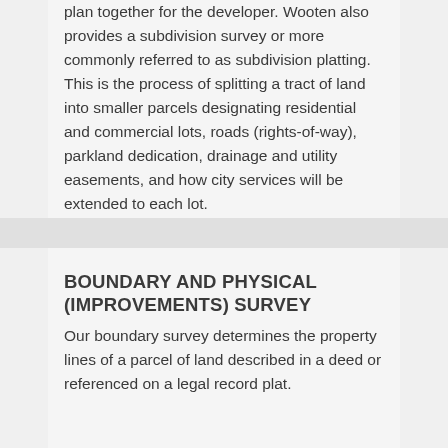plan together for the developer. Wooten also provides a subdivision survey or more commonly referred to as subdivision platting. This is the process of splitting a tract of land into smaller parcels designating residential and commercial lots, roads (rights-of-way), parkland dedication, drainage and utility easements, and how city services will be extended to each lot.
BOUNDARY AND PHYSICAL (IMPROVEMENTS) SURVEY
Our boundary survey determines the property lines of a parcel of land described in a deed or referenced on a legal record plat.